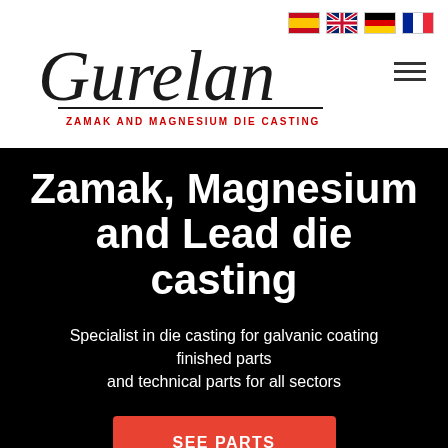[Figure (logo): Gurelan company logo with cursive text 'Gurelan' and subtitle 'ZAMAK AND MAGNESIUM DIE CASTING' in red, with underline decoration]
[Figure (illustration): Four national flag icons: Spain, United Kingdom, Germany, France]
Zamak, Magnesium and Lead die casting
Specialist in die casting for galvanic coating finished parts and technical parts for all sectors
SEE PARTS